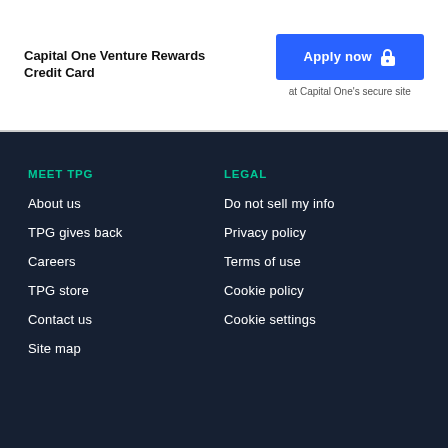Capital One Venture Rewards Credit Card
[Figure (other): Apply now button with lock icon and 'at Capital One's secure site' text]
MEET TPG
About us
TPG gives back
Careers
TPG store
Contact us
Site map
LEGAL
Do not sell my info
Privacy policy
Terms of use
Cookie policy
Cookie settings